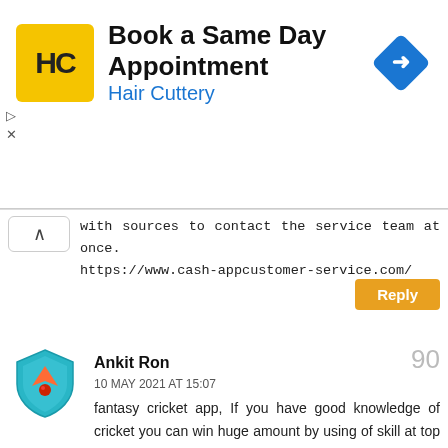[Figure (screenshot): Advertisement banner for Hair Cuttery: 'Book a Same Day Appointment' with yellow HC logo and blue diamond arrow icon]
with sources to contact the service team at once.
https://www.cash-appcustomer-service.com/
Reply
Ankit Ron
90
10 MAY 2021 AT 15:07
fantasy cricket app, If you have good knowledge of cricket you can win huge amount by using of skill at top 10 fantasy cricket apps or new fantasy cricket app many and more people are earn amount at this new fantasy app. To play in it, first of all download its application, sign and select your team and you can play. When selecting a team, you should have a good